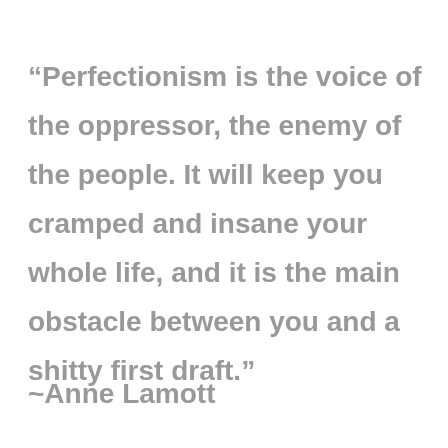“Perfectionism is the voice of the oppressor, the enemy of the people. It will keep you cramped and insane your whole life, and it is the main obstacle between you and a shitty first draft.”
~Anne Lamott